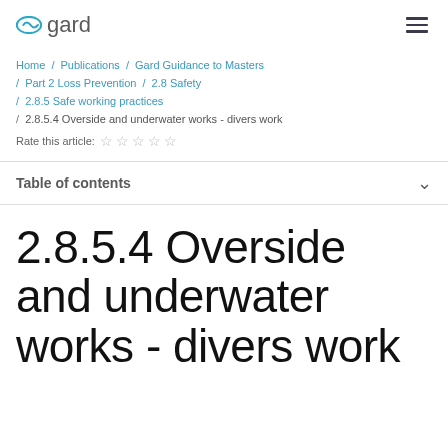gard
Home / Publications / Gard Guidance to Masters / Part 2 Loss Prevention / 2.8 Safety / 2.8.5 Safe working practices / 2.8.5.4 Overside and underwater works - divers work
Rate this article: ☆ ☆ ☆ ☆ ☆
Table of contents
2.8.5.4 Overside and underwater works - divers work